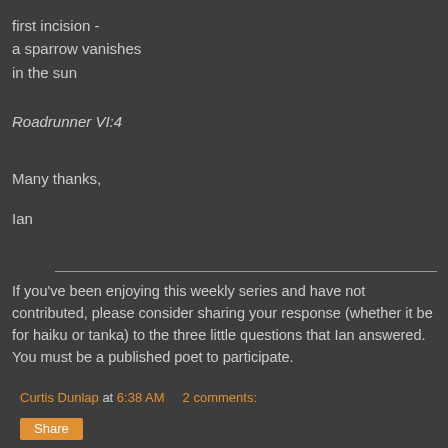first incision -
a sparrow vanishes
in the sun
Roadrunner VI:4
Many thanks,
Ian
If you've been enjoying this weekly series and have not contributed, please consider sharing your response (whether it be for haiku or tanka) to the three little questions that Ian answered. You must be a published poet to participate.
Curtis Dunlap at 6:38 AM    2 comments: